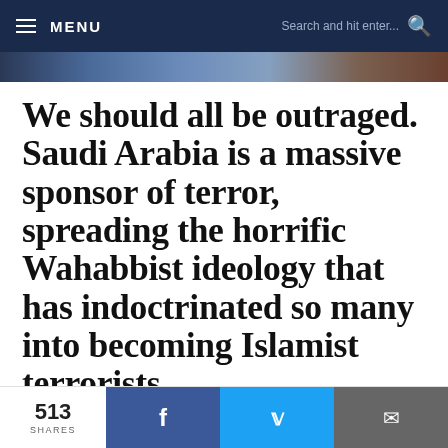MENU | Search and hit enter...
[Figure (photo): Partial banner image strip showing people, partially cropped]
We should all be outraged. Saudi Arabia is a massive sponsor of terror, spreading the horrific Wahabbist ideology that has indoctrinated so many into becoming Islamist terrorists.
If they had even a shred of decency, Saudi Arabia would feel some responsibility for the consequences of spreading Wahabbist...
513 SHARES | Facebook share | Twitter share | Email share